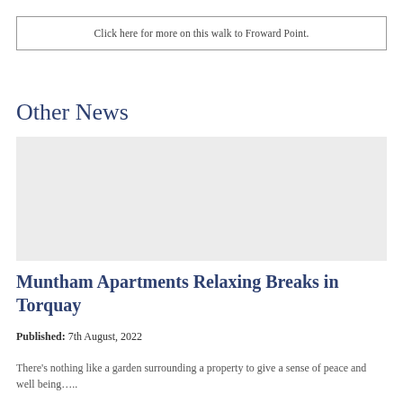Click here for more on this walk to Froward Point.
Other News
[Figure (photo): A light grey placeholder image for a news article about Muntham Apartments Relaxing Breaks in Torquay]
Muntham Apartments Relaxing Breaks in Torquay
Published: 7th August, 2022
There's nothing like a garden surrounding a property to give a sense of peace and well being…..